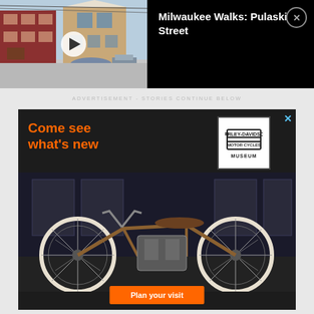[Figure (screenshot): Video thumbnail showing street scene with red brick buildings, a play button overlay, title 'Milwaukee Walks: Pulaski Street', and a close button on black background]
ADVERTISEMENT - STORIES CONTINUE BELOW
[Figure (screenshot): Harley-Davidson Museum advertisement on black background showing 'Come see what's new' in orange text, HD Museum logo, vintage motorcycle photo, and 'Plan your visit' orange button]